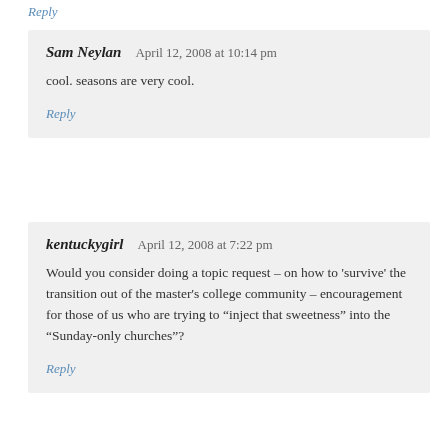Reply
Sam Neylan   April 12, 2008 at 10:14 pm
cool. seasons are very cool.
Reply
kentuckygirl   April 12, 2008 at 7:22 pm
Would you consider doing a topic request – on how to 'survive' the transition out of the master's college community – encouragement for those of us who are trying to "inject that sweetness" into the "Sunday-only churches"?
Reply